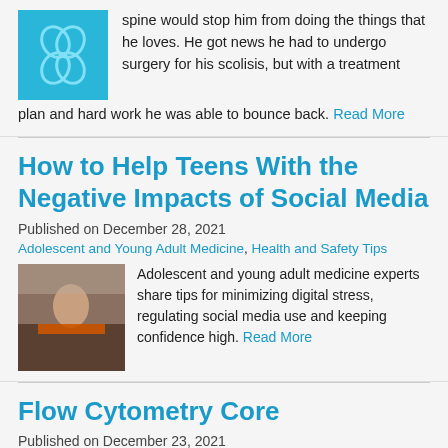spine would stop him from doing the things that he loves. He got news he had to undergo surgery for his scolisis, but with a treatment plan and hard work he was able to bounce back. Read More
How to Help Teens With the Negative Impacts of Social Media
Published on December 28, 2021
Adolescent and Young Adult Medicine, Health and Safety Tips
[Figure (photo): Photo of a teenager sitting at a desk looking stressed, resting face in hands]
Adolescent and young adult medicine experts share tips for minimizing digital stress, regulating social media use and keeping confidence high. Read More
Flow Cytometry Core
Published on December 23, 2021
Research Blog
[Figure (photo): Flow cytometry colorful heat map visualization image]
Flow cytometry is a powerful tool to measure multiple biological characteristics of individual